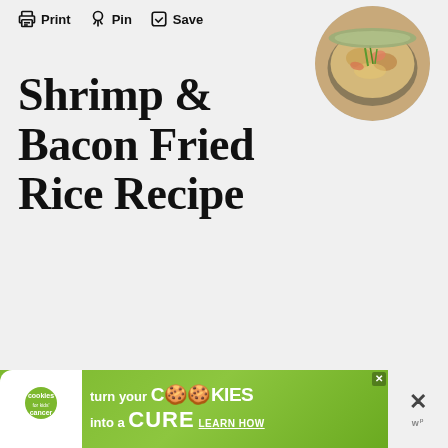Print  Pin  Save
[Figure (photo): Circular photo of shrimp and bacon fried rice in a bowl, viewed from above, garnished with green onions]
Shrimp & Bacon Fried Rice Recipe
Prep Time   15 minutes
Cook Time   25 minutes
Servings    4 to 6
[Figure (infographic): Green advertisement banner for Cookies for Kids Cancer: 'turn your COOKIES into a CURE LEARN HOW']